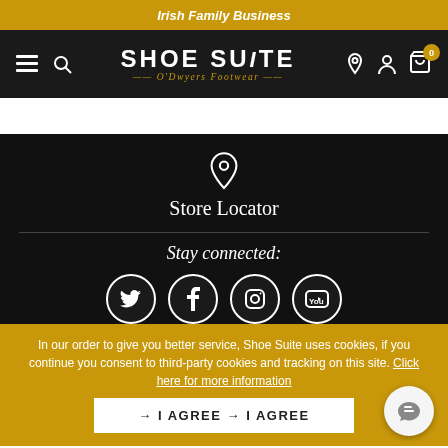Irish Family Business
[Figure (screenshot): Shoe Suite O'Dwyers Footwear navigation bar with menu, search, logo, location, account, and cart icons]
Store Locator
Stay connected:
[Figure (infographic): Four social media icons in circles: Twitter, Facebook, Instagram, YouTube]
In our order to give you better service, Shoe Suite uses cookies, if you continue you consent to third-party cookies and tracking on this site. Click here for more information
→ I AGREE